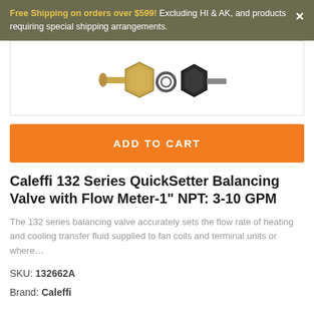Free Shipping on orders over $599! Excluding HI & AK, and products requiring special shipping arrangements.
[Figure (photo): Product image of Caleffi 132 Series QuickSetter Balancing Valve with Flow Meter showing brass fittings and black components]
ADD TO CART
Caleffi 132 Series QuickSetter Balancing Valve with Flow Meter-1" NPT: 3-10 GPM
The 132 series balancing valve accurately sets the flow rate of heating and cooling transfer fluid supplied to fan coils and terminal units or where…
SKU: 132662A
Brand: Caleffi